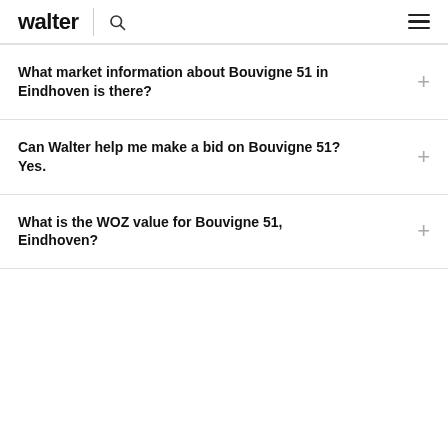walter
What market information about Bouvigne 51 in Eindhoven is there?
Can Walter help me make a bid on Bouvigne 51? Yes.
What is the WOZ value for Bouvigne 51, Eindhoven?